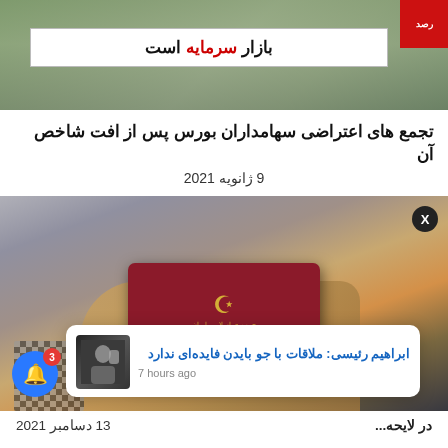[Figure (photo): Protest banner in Farsi reading 'بازار سرمایه است' with people in background]
تجمع های اعتراضی سهامداران بورس پس از افت شاخص آن
9 ژانویه  2021
[Figure (photo): Hand holding an Iranian passport (Islamic Republic of Iran), maroon cover with gold emblem]
ابراهیم رئیسی: ملاقات با جو بایدن فایده‌ای ندارد
7 hours ago
در لایحه...
13 دسامبر  2021